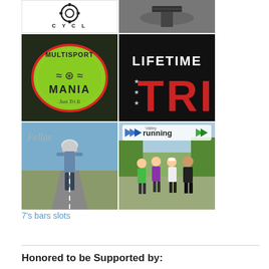[Figure (photo): Top row: Two images - a bicycle gear/cycle logo on left and a screw/bolt on asphalt on right]
[Figure (logo): Multisport Mania logo - green oval with swim/bike/run icons, 'Just Tri It' text on dark background]
[Figure (logo): Lifetime TRI logo - white and red text on black background]
[Figure (photo): Triathlete in aero helmet on road]
[Figure (photo): Valley Running group photo with logo overlay - four people standing together outdoors]
7's bars slots
Honored to be Supported by: